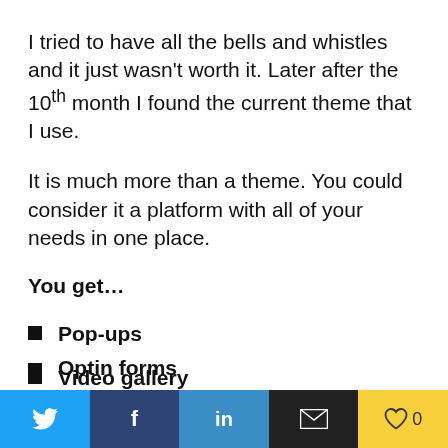I tried to have all the bells and whistles and it just wasn't worth it. Later after the 10th month I found the current theme that I use.
It is much more than a theme. You could consider it a platform with all of your needs in one place.
You get…
Pop-ups
Video gallery
Optin forms